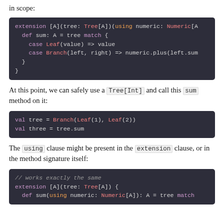in scope:
[Figure (screenshot): Scala code block showing extension method with using clause: extension [A](tree: Tree[A])(using numeric: Numeric[A] ... def sum: A = tree match { case Leaf(value) => value case Branch(left, right) => numeric.plus(left.sum ... } }]
At this point, we can safely use a Tree[Int] and call this sum method on it:
[Figure (screenshot): Scala code block: val tree = Branch(Leaf(1), Leaf(2)) / val three = tree.sum]
The using clause might be present in the extension clause, or in the method signature itself:
[Figure (screenshot): Scala code block (partial): // works exactly the same / extension [A](tree: Tree[A]) { / def sum(using numeric: Numeric[A]): A = tree match]